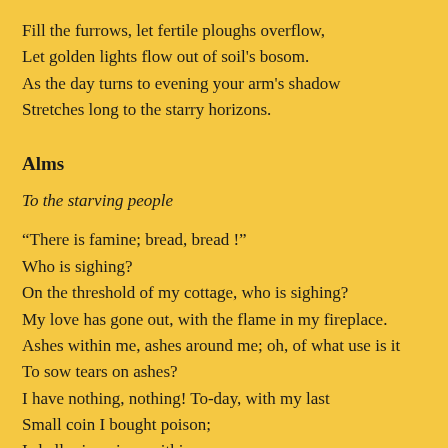Fill the furrows, let fertile ploughs overflow,
Let golden lights flow out of soil's bosom.
As the day turns to evening your arm's shadow
Stretches long to the starry horizons.
Alms
To the starving people
“There is famine; bread, bread !”
Who is sighing?
On the threshold of my cottage, who is sighing?
My love has gone out, with the flame in my fireplace.
Ashes within me, ashes around me; oh, of what use is it
To sow tears on ashes?
I have nothing, nothing! To-day, with my last
Small coin I bought poison;
I shall mix poison within me.
Come to-morrow to the graveyard, thou Hungry One,
Through the storm, early, when around the village
Wolves are still wandering.